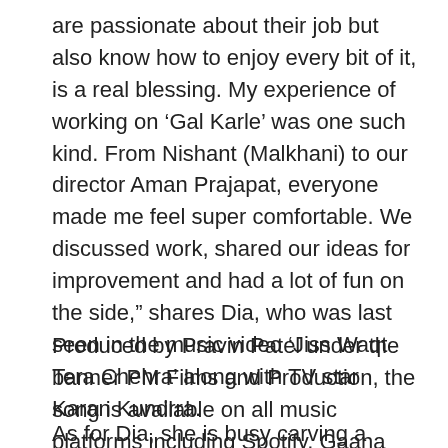are passionate about their job but also know how to enjoy every bit of it, is a real blessing. My experience of working on ‘Gal Karle’ was one such kind. From Nishant (Malkhani) to our director Aman Prajapat, everyone made me feel super comfortable. We discussed work, shared our ideas for improvement and had a lot of fun on the side,” shares Dia, who was last seen in the music video ‘Jiss Waqt Tera Chehra’ along with TV star Karan Kundrra.
Produced by Pravin Patel under the banner PM Films and Production, the song is available on all music platforms including Spotify, Gaana and Hungama Music.
As for Dia, she is busy carving a niche for